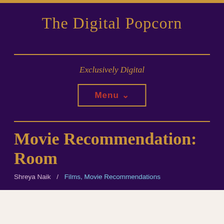The Digital Popcorn
Exclusively Digital
Menu ∨
Movie Recommendation: Room
Shreya Naik / Films, Movie Recommendations
Follow ...